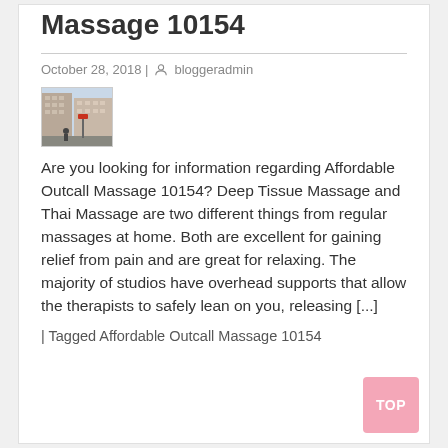Massage 10154
October 28, 2018 | bloggeradmin
[Figure (photo): Thumbnail photo of a street scene with tall residential buildings and a person standing near a traffic light or street sign.]
Are you looking for information regarding Affordable Outcall Massage 10154? Deep Tissue Massage and Thai Massage are two different things from regular massages at home. Both are excellent for gaining relief from pain and are great for relaxing. The majority of studios have overhead supports that allow the therapists to safely lean on you, releasing [...]
| Tagged Affordable Outcall Massage 10154